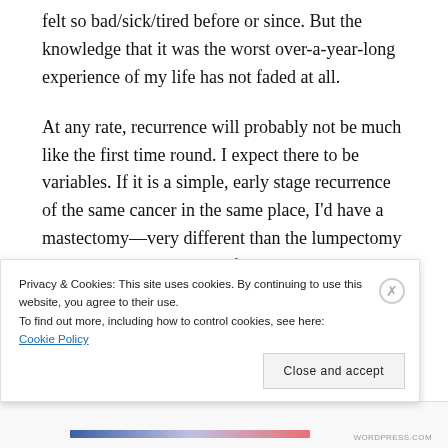felt so bad/sick/tired before or since. But the knowledge that it was the worst over-a-year-long experience of my life has not faded at all.
At any rate, recurrence will probably not be much like the first time round. I expect there to be variables. If it is a simple, early stage recurrence of the same cancer in the same place, I'd have a mastectomy—very different than the lumpectomy I had last time. That's just for starters. There would be no radiation.
Privacy & Cookies: This site uses cookies. By continuing to use this website, you agree to their use.
To find out more, including how to control cookies, see here: Cookie Policy